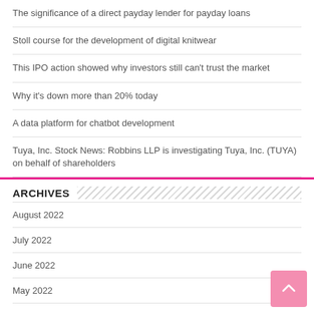The significance of a direct payday lender for payday loans
Stoll course for the development of digital knitwear
This IPO action showed why investors still can't trust the market
Why it's down more than 20% today
A data platform for chatbot development
Tuya, Inc. Stock News: Robbins LLP is investigating Tuya, Inc. (TUYA) on behalf of shareholders
ARCHIVES
August 2022
July 2022
June 2022
May 2022